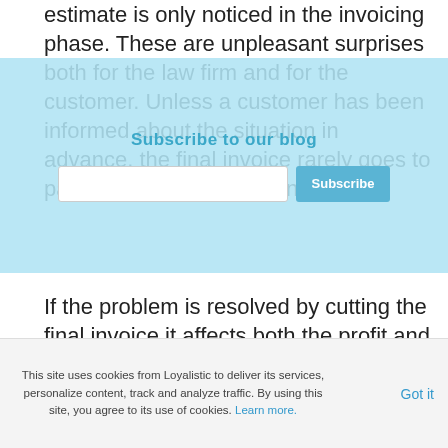estimate is only noticed in the invoicing phase. These are unpleasant surprises both for the law firm and for the customer. Unless a customer has been informed about the situation in advance, the final invoice rarely goes to payment without complaints.
[Figure (other): Subscribe to our blog overlay with email input field and Subscribe button on a light blue background]
If the problem is resolved by cutting the final invoice it affects both the profit and the motivation of the assignment team. Particularly, if there is a rewarding model based on invoiced hours, it is hard to decide whose hours are left uninvoiced.
[Figure (illustration): Small decorative icon/emoji illustration]
This site uses cookies from Loyalistic to deliver its services, personalize content, track and analyze traffic. By using this site, you agree to its use of cookies. Learn more.